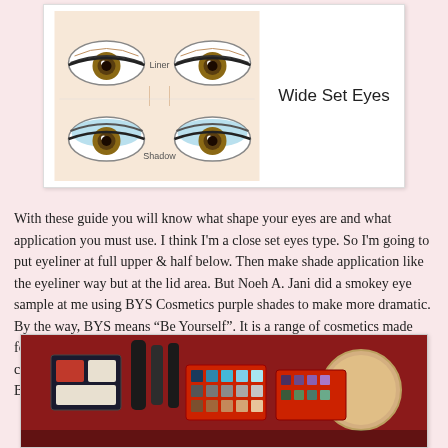[Figure (illustration): Diagram showing 'Wide Set Eyes' eye makeup application guide. Two rows of illustrated eyes on a face outline: top row shows liner placement labeled 'Liner', bottom row shows shadow placement labeled 'Shadow' with light blue eyeshadow. Text 'Wide Set Eyes' appears to the right of the diagram.]
With these guide you will know what shape your eyes are and what application you must use. I think I'm a close set eyes type. So I'm going to put eyeliner at full upper & half below. Then make shade application like the eyeliner way but at the lid area. But Noeh A. Jani did a smokey eye sample at me using BYS Cosmetics purple shades to make more dramatic. By the way, BYS means “Be Yourself”. It is a range of cosmetics made form Australia. It is fashionable and affordable with lots of shades to choose. Thanks for Ms. Ria who shared those fabulous cosmetics. Like BYS Cosmetics here and visit their website here.
[Figure (photo): Photo of various BYS Cosmetics products arranged on a red surface, including eyeshadow palettes, mascaras, and other makeup items.]